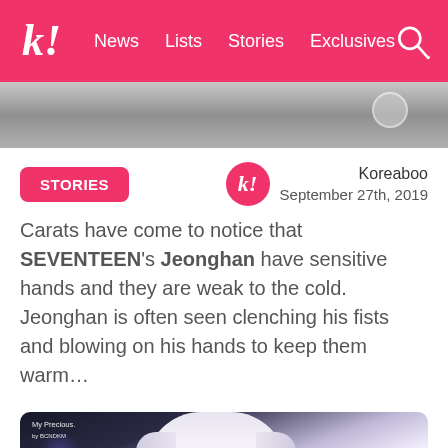Koreaboo — News | Lists | Stories | Exclusives
[Figure (photo): Blurred gray background hero image at top of article]
STORIES
Koreaboo
September 27th, 2019
Carats have come to notice that SEVENTEEN's Jeonghan have sensitive hands and they are weak to the cold. Jeonghan is often seen clenching his fists and blowing on his hands to keep them warm…
[Figure (photo): Close-up photo of Jeonghan from SEVENTEEN with blonde/white hair, with watermark text 'My Precious. by BCNDKM']